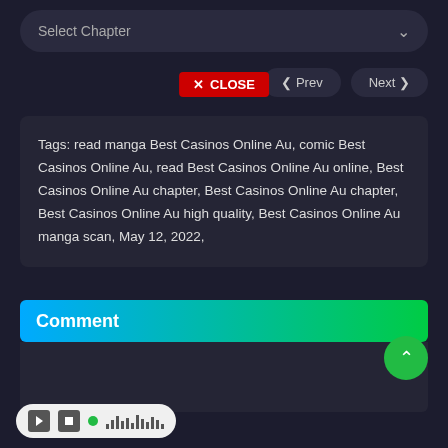Select Chapter
< Prev   Next >
✕ CLOSE
Tags: read manga Best Casinos Online Au, comic Best Casinos Online Au, read Best Casinos Online Au online, Best Casinos Online Au chapter, Best Casinos Online Au chapter, Best Casinos Online Au high quality, Best Casinos Online Au manga scan, May 12, 2022,
Comment
[Figure (screenshot): Media player bar with play, stop buttons and volume indicator]